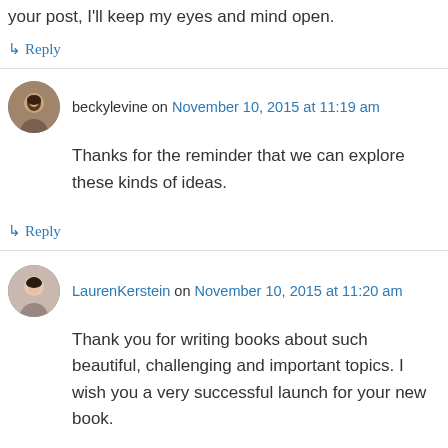your post, I'll keep my eyes and mind open.
↳ Reply
beckylevine on November 10, 2015 at 11:19 am
Thanks for the reminder that we can explore these kinds of ideas.
↳ Reply
LaurenKerstein on November 10, 2015 at 11:20 am
Thank you for writing books about such beautiful, challenging and important topics. I wish you a very successful launch for your new book.
↳ Reply